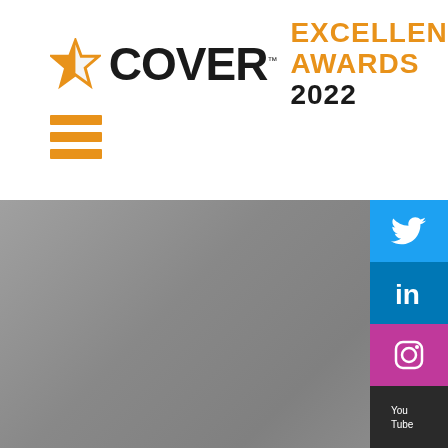[Figure (logo): COVER Excellence Awards 2022 logo with orange star and bold black COVER text with orange EXCELLENCE AWARDS 2022 text]
[Figure (infographic): Hamburger menu icon consisting of three horizontal orange bars]
[Figure (photo): Grey gradient background area representing a website screenshot lower section with social media icons on the right sidebar: Twitter (blue), LinkedIn (blue), Instagram (pink/purple), YouTube (dark)]